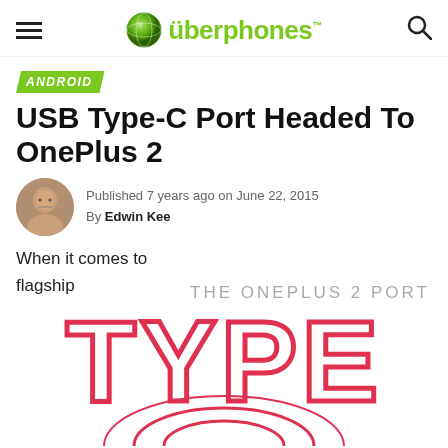überphones™
ANDROID
USB Type-C Port Headed To OnePlus 2
Published 7 years ago on June 22, 2015
By Edwin Kee
When it comes to flagship
[Figure (logo): THE ONEPLUS 2 PORT branding with large red outlined TYPE text logo and circular design element at bottom]